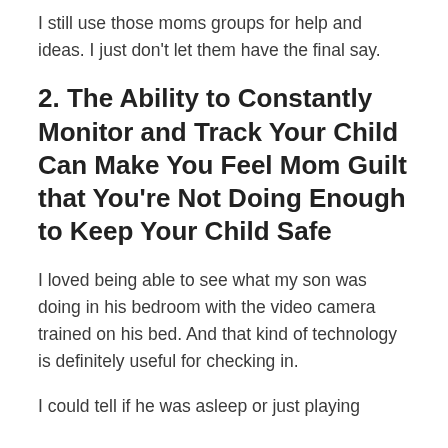I still use those moms groups for help and ideas. I just don't let them have the final say.
2. The Ability to Constantly Monitor and Track Your Child Can Make You Feel Mom Guilt that You're Not Doing Enough to Keep Your Child Safe
I loved being able to see what my son was doing in his bedroom with the video camera trained on his bed. And that kind of technology is definitely useful for checking in.
I could tell if he was asleep or just playing